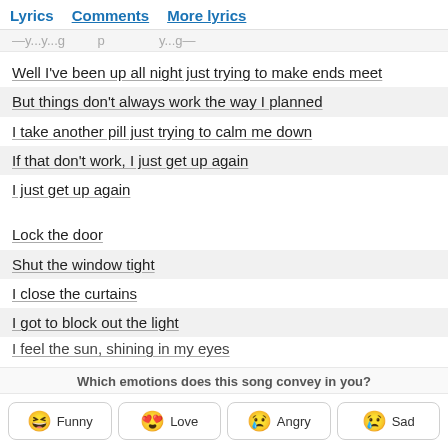Lyrics  Comments  More lyrics
—y...y...g..................p...................y...g—
Well I've been up all night just trying to make ends meet
But things don't always work the way I planned
I take another pill just trying to calm me down
If that don't work, I just get up again
I just get up again
Lock the door
Shut the window tight
I close the curtains
I got to block out the light
I feel the sun, shining in my eyes
Which emotions does this song convey in you?
Funny
Love
Angry
Sad